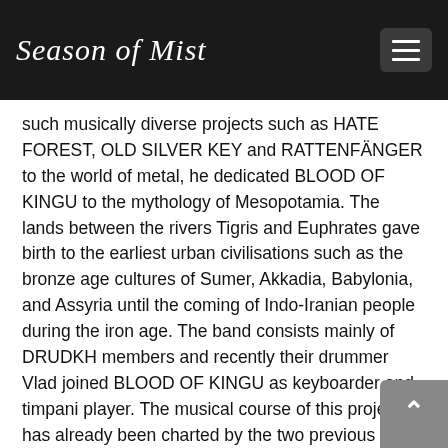Season of Mist
such musically diverse projects such as HATE FOREST, OLD SILVER KEY and RATTENFÄNGER to the world of metal, he dedicated BLOOD OF KINGU to the mythology of Mesopotamia. The lands between the rivers Tigris and Euphrates gave birth to the earliest urban civilisations such as the bronze age cultures of Sumer, Akkadia, Babylonia, and Assyria until the coming of Indo-Iranian people during the iron age. The band consists mainly of DRUDKH members and recently their drummer Vlad joined BLOOD OF KINGU as keyboarder and timpani player. The musical course of this project has already been charted by the two previous releases 'De Occulta Philosophia' (2007) as well as 'Sun in the House of the Scorpion' (2010) and steers towards primitive and harsh black metal. With their third full-length 'Dark Star on the Right Horn of the Crescent Moon',